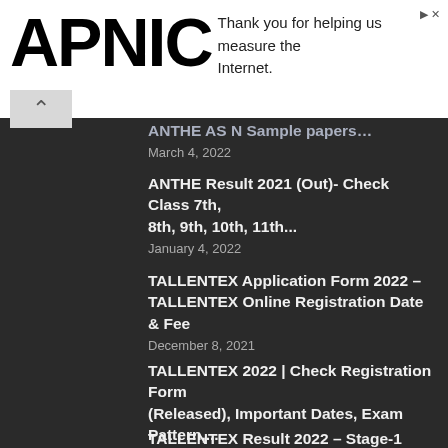[Figure (logo): APNIC logo in large black bold text on white background, with ad text 'Thank you for helping us measure the Internet.']
ANTHE AS N Sample papers… March 4, 2022
ANTHE Result 2021 (Out)- Check Class 7th, 8th, 9th, 10th, 11th... | January 4, 2022
TALLENTEX Application Form 2022 – TALLENTEX Online Registration Date & Fee | December 8, 2021
TALLENTEX 2022 | Check Registration Form (Released), Important Dates, Exam Pattern,... | December 8, 2021
TALLENTEX Result 2022 – Stage-1 Result Declared